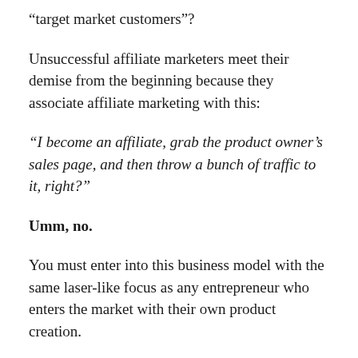“target market customers”?
Unsuccessful affiliate marketers meet their demise from the beginning because they associate affiliate marketing with this:
“I become an affiliate, grab the product owner’s sales page, and then throw a bunch of traffic to it, right?”
Umm, no.
You must enter into this business model with the same laser-like focus as any entrepreneur who enters the market with their own product creation.